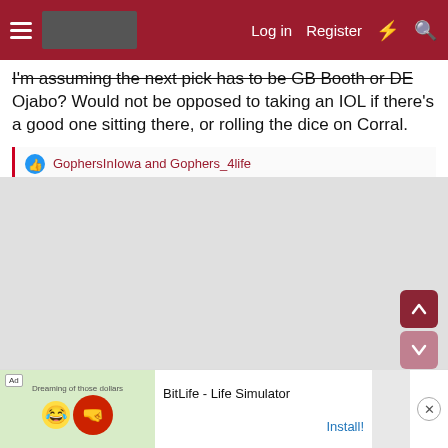Log in  Register
I'm assuming the next pick has to be GB Booth or DE Ojabo? Would not be opposed to taking an IOL if there's a good one sitting there, or rolling the dice on Corral.
GophersInIowa and Gophers_4life
[Figure (screenshot): BitLife - Life Simulator advertisement banner at bottom of page]